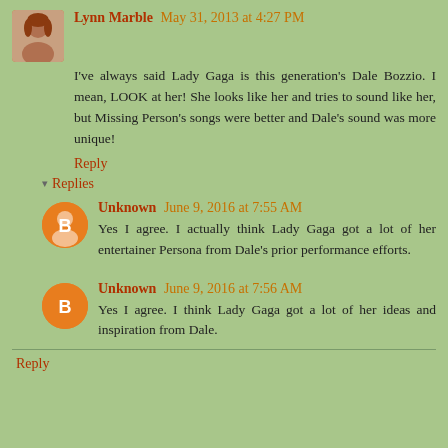Lynn Marble May 31, 2013 at 4:27 PM
I've always said Lady Gaga is this generation's Dale Bozzio. I mean, LOOK at her! She looks like her and tries to sound like her, but Missing Person's songs were better and Dale's sound was more unique!
Reply
Replies
Unknown June 9, 2016 at 7:55 AM
Yes I agree. I actually think Lady Gaga got a lot of her entertainer Persona from Dale's prior performance efforts.
Unknown June 9, 2016 at 7:56 AM
Yes I agree. I think Lady Gaga got a lot of her ideas and inspiration from Dale.
Reply